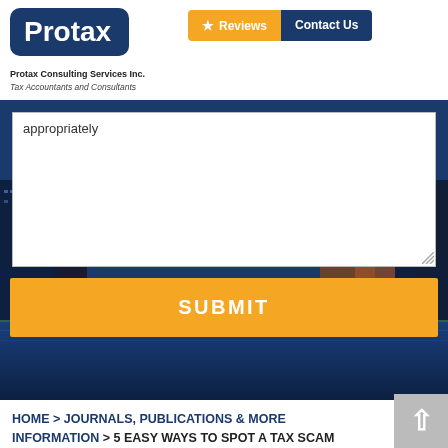[Figure (logo): Protax logo — white text on dark navy rounded rectangle]
Protax Consulting Services Inc.
Tax Accountants and Consultants
[Figure (screenshot): Navigation buttons: Reviews (orange with star) and Contact Us (navy)]
[Figure (photo): Hero section with dark blue overlay showing a city skyline (New York City waterfront buildings), containing a white textarea form field with text 'appropriately' and an orange SUBMIT button]
HOME > JOURNALS, PUBLICATIONS & MORE INFORMATION > 5 EASY WAYS TO SPOT A TAX SCAM PHONE CALL